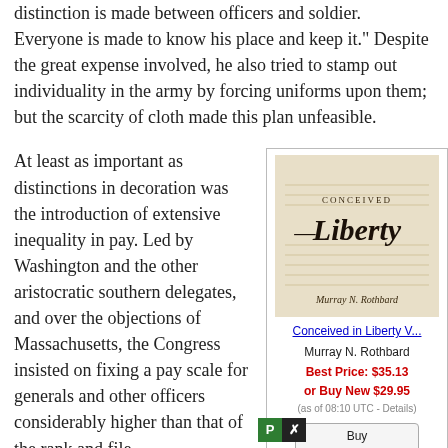distinction is made between officers and soldier. Everyone is made to know his place and keep it." Despite the great expense involved, he also tried to stamp out individuality in the army by forcing uniforms upon them; but the scarcity of cloth made this plan unfeasible.
At least as important as distinctions in decoration was the introduction of extensive inequality in pay. Led by Washington and the other aristocratic southern delegates, and over the objections of Massachusetts, the Congress insisted on fixing a pay scale for generals and other officers considerably higher than that of the rank and file.
[Figure (illustration): Book cover for 'Conceived in Liberty V...' by Murray N. Rothbard, showing an aged parchment-style document background with decorative script reading 'Conceived Liberty' and the author's signature.]
Conceived in Liberty V...
Murray N. Rothbard
Best Price: $35.13
or Buy New $29.95
(as of 08:10 UTC - Details)